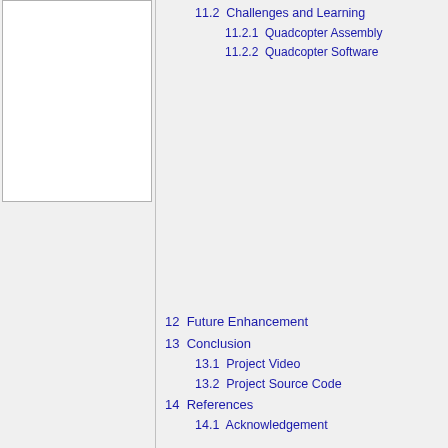11.2  Challenges and Learning
11.2.1  Quadcopter Assembly
11.2.2  Quadcopter Software
12  Future Enhancement
13  Conclusion
13.1  Project Video
13.2  Project Source Code
14  References
14.1  Acknowledgement